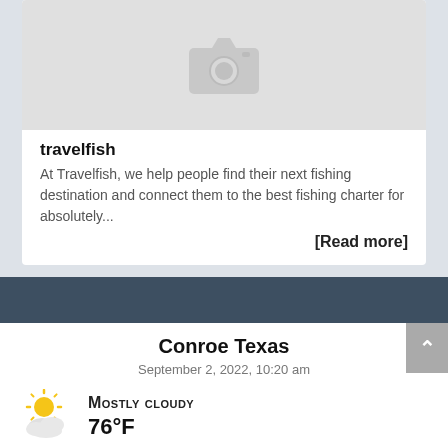[Figure (photo): Placeholder image with camera icon (grey background)]
travelfish
At Travelfish, we help people find their next fishing destination and connect them to the best fishing charter for absolutely...
[Read more]
[Figure (infographic): Partly sunny weather icon with clouds]
Conroe Texas
September 2, 2022, 10:20 am
Mostly cloudy
76°F
real feel: 88°F
current pressure: 30 in